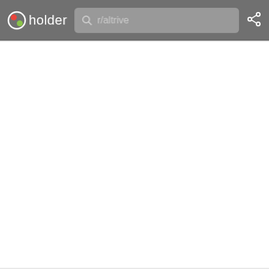pholder  r/altrive
[Figure (screenshot): Pholder website screenshot showing a dark gray header bar with the pholder logo on the left (letter p in a circle with red and green dots), a search bar in the middle showing 'r/altrive', and a share icon on the right. The main content area below is white/empty. A light gray divider bar appears near the bottom.]